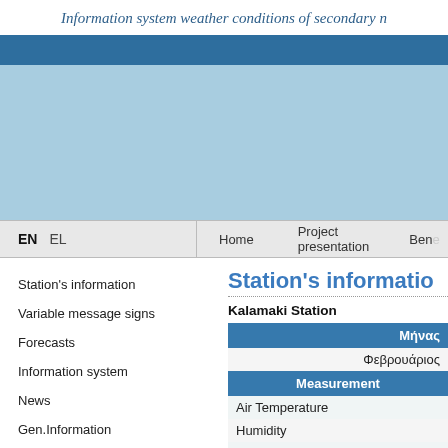Information system weather conditions of secondary n
[Figure (screenshot): Blue banner header area with dark blue top bar and light blue main banner area]
EN  EL  Home  Project presentation  Bene
Station's informatio
Station's information
Variable message signs
Forecasts
Information system
News
Gen.Information
Kalamaki Station
| Μήνας |
| --- |
| Φεβρουάριος |
| Measurement |
| Air Temperature |
| Humidity |
| Wind speed |